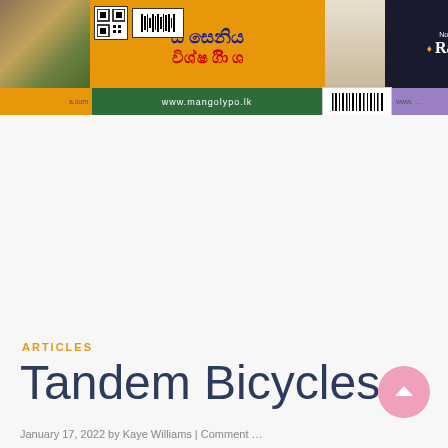[Figure (screenshot): Website banner/header with advertisements including QR code, barcode, Sinhala text on orange background, woman image, Raja Jewellers ad on dark background with Rs.250,000/- offer, and purple section. Below is a green navigation bar with www.mangolypo.lk URL and barcode.]
ARTICLES
Tandem Bicycles